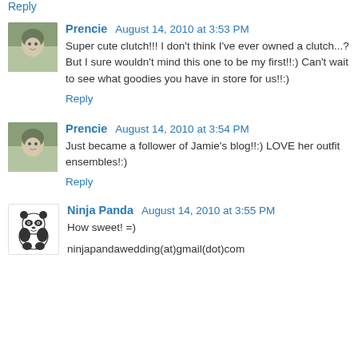Reply
Prencie  August 14, 2010 at 3:53 PM
Super cute clutch!!! I don't think I've ever owned a clutch...? But I sure wouldn't mind this one to be my first!!:) Can't wait to see what goodies you have in store for us!!:)
Reply
Prencie  August 14, 2010 at 3:54 PM
Just became a follower of Jamie's blog!!:) LOVE her outfit ensembles!:)
Reply
Ninja Panda  August 14, 2010 at 3:55 PM
How sweet! =)
ninjapandawedding(at)gmail(dot)com